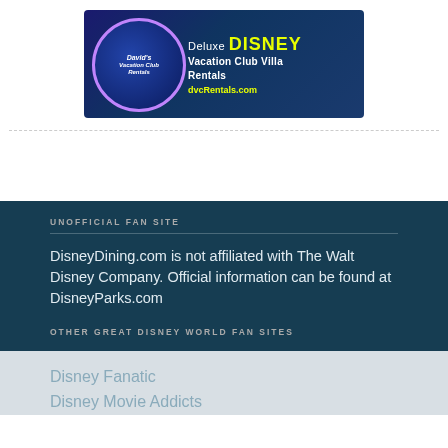[Figure (illustration): David's Vacation Club Rentals advertisement banner. Dark blue background with circular logo on left showing a cartoon character with 'David's Vacation Club Rentals' text. Right side shows 'Deluxe DISNEY Vacation Club Villa Rentals dvcRentals.com' in white and yellow text.]
UNOFFICIAL FAN SITE
DisneyDining.com is not affiliated with The Walt Disney Company. Official information can be found at DisneyParks.com
OTHER GREAT DISNEY WORLD FAN SITES
Disney Fanatic
Disney Movie Addicts